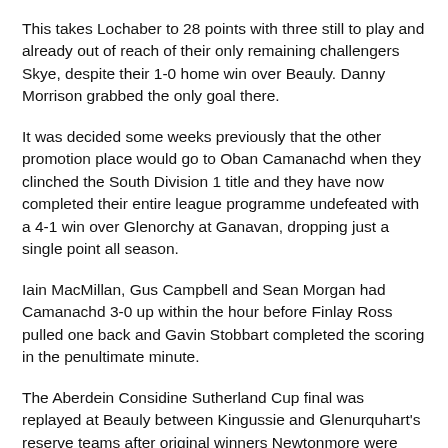This takes Lochaber to 28 points with three still to play and already out of reach of their only remaining challengers Skye, despite their 1-0 home win over Beauly. Danny Morrison grabbed the only goal there.
It was decided some weeks previously that the other promotion place would go to Oban Camanachd when they clinched the South Division 1 title and they have now completed their entire league programme undefeated with a 4-1 win over Glenorchy at Ganavan, dropping just a single point all season.
Iain MacMillan, Gus Campbell and Sean Morgan had Camanachd 3-0 up within the hour before Finlay Ross pulled one back and Gavin Stobbart completed the scoring in the penultimate minute.
The Aberdein Considine Sutherland Cup final was replayed at Beauly between Kingussie and Glenurquhart's reserve teams after original winners Newtonmore were expelled for fielding an ineligible